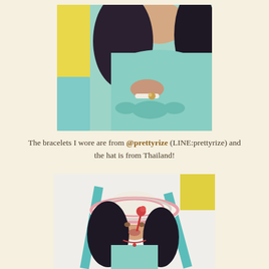[Figure (photo): Close-up photo of a woman wearing a mint/teal strapless dress with a bow detail, wearing a pearl and floral bracelet, standing near a yellow wall with teal accents.]
The bracelets I wore are from @prettyrize (LINE:prettyrize) and the hat is from Thailand!
[Figure (photo): Photo of a woman wearing a wide-brimmed striped hat with pink stripes, a mint/teal strapless dress, holding what appears to a red floral stick, posing with puckered lips near teal wooden structures.]